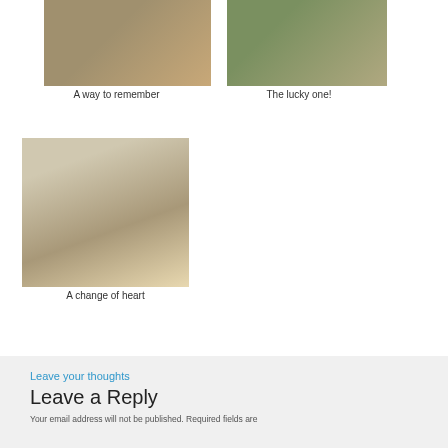[Figure (photo): Two people standing together, one in a blue shirt]
A way to remember
[Figure (photo): An animal (possibly a monkey) in an outdoor setting]
The lucky one!
[Figure (photo): A child wearing a cap and sunglasses, posing outdoors]
A change of heart
Leave your thoughts
Leave a Reply
Your email address will not be published. Required fields are